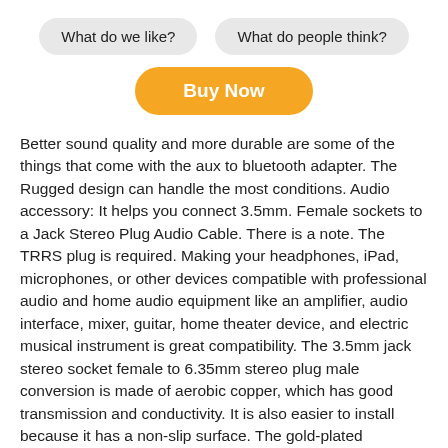What do we like?
What do people think?
Buy Now
Better sound quality and more durable are some of the things that come with the aux to bluetooth adapter. The Rugged design can handle the most conditions. Audio accessory: It helps you connect 3.5mm. Female sockets to a Jack Stereo Plug Audio Cable. There is a note. The TRRS plug is required. Making your headphones, iPad, microphones, or other devices compatible with professional audio and home audio equipment like an amplifier, audio interface, mixer, guitar, home theater device, and electric musical instrument is great compatibility. The 3.5mm jack stereo socket female to 6.35mm stereo plug male conversion is made of aerobic copper, which has good transmission and conductivity. It is also easier to install because it has a non-slip surface. The gold-plated connectors are strong and resistant tocorrosion. The user-friendly design uses gear grinding technology. It looks brilliant if you make it easy to insert and pull out the plug. Customer service and warranty for 12 months